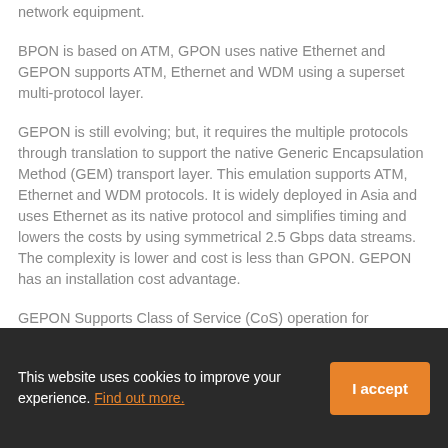network equipment.
BPON is based on ATM, GPON uses native Ethernet and GEPON supports ATM, Ethernet and WDM using a superset multi-protocol layer.
GEPON is still evolving; but, it requires the multiple protocols through translation to support the native Generic Encapsulation Method (GEM) transport layer. This emulation supports ATM, Ethernet and WDM protocols. It is widely deployed in Asia and uses Ethernet as its native protocol and simplifies timing and lowers the costs by using symmetrical 2.5 Gbps data streams. The complexity is lower and cost is less than GPON. GEPON has an installation cost advantage.
GEPON Supports Class of Service (CoS) operation for
This website uses cookies to improve your experience. Find out more.
I accept